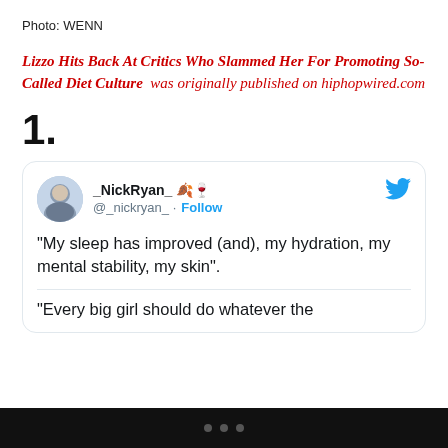Photo: WENN
Lizzo Hits Back At Critics Who Slammed Her For Promoting So-Called Diet Culture was originally published on hiphopwired.com
1.
[Figure (screenshot): Embedded tweet from @_nickryan_ with avatar photo, username _NickRyan_ with leaf and wine glass emojis, handle @_nickryan_, Follow button, Twitter bird icon. Tweet text: “My sleep has improved (and), my hydration, my mental stability, my skin”. Partial second paragraph: “Every big girl should do whatever the]
• • •